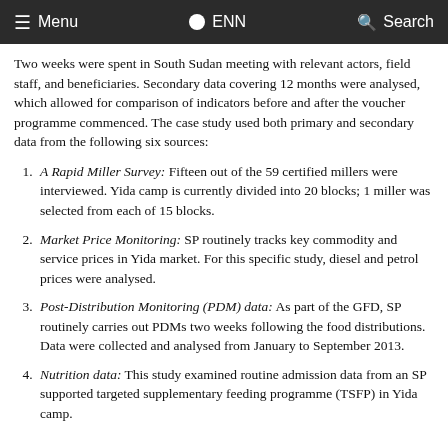≡ Menu  ● ENN  🔍 Search
Two weeks were spent in South Sudan meeting with relevant actors, field staff, and beneficiaries. Secondary data covering 12 months were analysed, which allowed for comparison of indicators before and after the voucher programme commenced. The case study used both primary and secondary data from the following six sources:
A Rapid Miller Survey: Fifteen out of the 59 certified millers were interviewed. Yida camp is currently divided into 20 blocks; 1 miller was selected from each of 15 blocks.
Market Price Monitoring: SP routinely tracks key commodity and service prices in Yida market. For this specific study, diesel and petrol prices were analysed.
Post-Distribution Monitoring (PDM) data: As part of the GFD, SP routinely carries out PDMs two weeks following the food distributions. Data were collected and analysed from January to September 2013.
Nutrition data: This study examined routine admission data from an SP supported targeted supplementary feeding programme (TSFP) in Yida camp.
5. (partially visible)